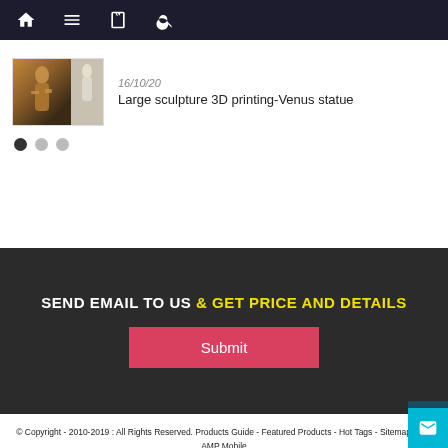Navigation bar with home, menu, book, search icons
[Figure (photo): Thumbnail image of Venus statue (3D printed sculpture, two-tone photo with bronze and white versions)]
16/10/20
Large sculpture 3D printing-Venus statue
SEND EMAIL TO US & GET PRICE AND DETAILS
Submit
© Copyright - 2010-2019 : All Rights Reserved. Products Guide - Featured Products - Hot Tags - Sitemap.xml - AMP Mobile